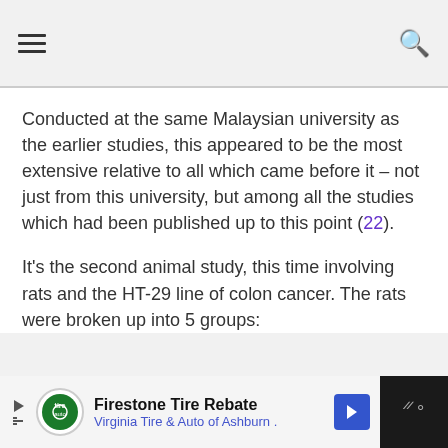Conducted at the same Malaysian university as the earlier studies, this appeared to be the most extensive relative to all which came before it – not just from this university, but among all the studies which had been published up to this point (22).
It's the second animal study, this time involving rats and the HT-29 line of colon cancer. The rats were broken up into 5 groups:
Firestone Tire Rebate Virginia Tire & Auto of Ashburn .